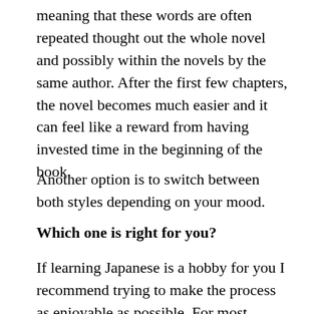meaning that these words are often repeated thought out the whole novel and possibly within the novels by the same author. After the first few chapters, the novel becomes much easier and it can feel like a reward from having invested time in the beginning of the book.
Another option is to switch between both styles depending on your mood.
Which one is right for you?
If learning Japanese is a hobby for you I recommend trying to make the process as enjoyable as possible. For most people, I think this would mean extensively reading. But if you